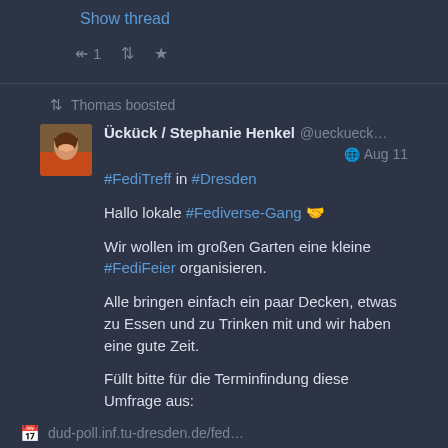Show thread
↩ 1  🔁  ★
🔁 Thomas boosted
Ückück / Stephanie Henkel @ueckueck... 🌐 Aug 11
#FediTreff in #Dresden

Hallo lokale #Fediverse-Gang 🤝

Wir wollen im großen Garten eine kleine #FediFeier organisieren.

Alle bringen einfach ein paar Decken, etwas zu Essen und zu Trinken mit und wir haben eine gute Zeit.

Füllt bitte für die Terminfindung diese Umfrage aus:
📅 dud-poll.inf.tu-dresden.de/fed...